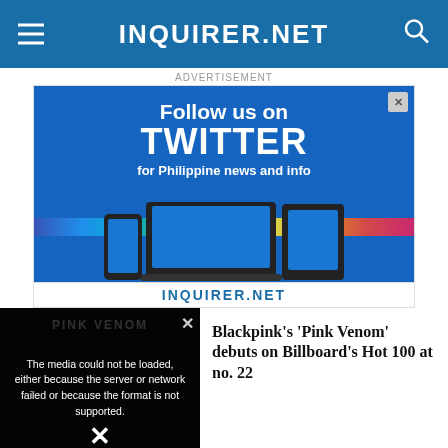INQUIRER.NET
ADVERTISEMENT
[Figure (screenshot): Advertisement banner for Inquirer.net Twitter page. Shows bold text 'Follow us on TWITTER for Philippine news and info' with rainbow stripe decoration and device screenshots (phone, laptop, tablet) displaying Twitter feed. Footer shows INQUIRER.NET logo.]
[Figure (screenshot): Video player showing PINK VENOM label and media error overlay: 'The media could not be loaded, either because the server or network failed or because the format is not supported.' with X close button.]
Blackpink's 'Pink Venom' debuts on Billboard's Hot 100 at no. 22